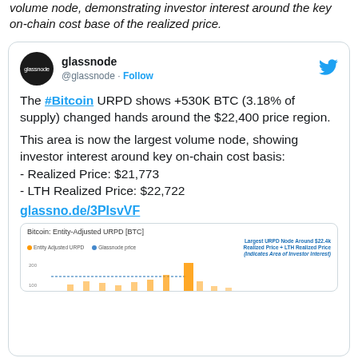volume node, demonstrating investor interest around the key on-chain cost base of the realized price.
[Figure (screenshot): Embedded tweet from @glassnode showing Bitcoin URPD data. The tweet states: The #Bitcoin URPD shows +530K BTC (3.18% of supply) changed hands around the $22,400 price region. This area is now the largest volume node, showing investor interest around key on-chain cost basis: - Realized Price: $21,773 - LTH Realized Price: $22,722. Link: glassno.de/3PIsvVF. Includes a preview of a Bitcoin: Entity-Adjusted URPD [BTC] chart with annotation 'Largest URPD Node Around $22.4k Realized Price + LTH Realized Price (Indicates Area of Investor Interest)'.]